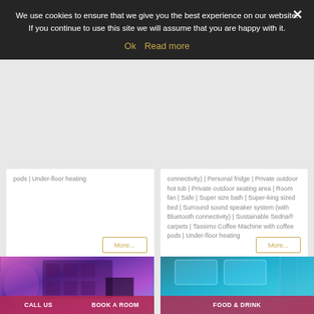We use cookies to ensure that we give you the best experience on our website. If you continue to use this site we will assume that you are happy with it.
Ok   Read more
pods | Under-floor heating
connectivity) | Personal fridge | Private outdoor hot tub | Private outdoor seating area | Room fan | Safe | Super size bath | Super-king sized bed | Surround sound speaker system (with Bluetooth connectivity) | Sustainable Sedna® carpets | Tassimo Coffee Machine with coffee pods | Under-floor heating
More...
More...
[Figure (photo): Hotel room or spa area with purple/pink ambient lighting]
[Figure (photo): Hotel area with blue ambient ceiling lighting]
CALL US
BOOK A ROOM
FOOD & DRINK